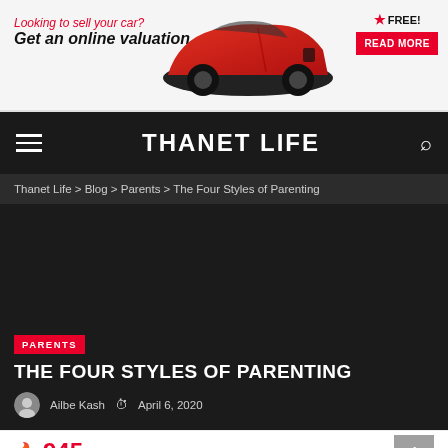[Figure (infographic): Advertisement banner for online car valuation service. Red italic text: 'Looking to sell your car? Get an online valuation.' Image of a red sports car. Badge: star FREE! Red button: READ MORE]
THANET LIFE
Thanet Life > Blog > Parents > The Four Styles of Parenting
[Figure (photo): Dark/black background image area]
PARENTS
THE FOUR STYLES OF PARENTING
Ailbe Kash  April 6, 2020
945